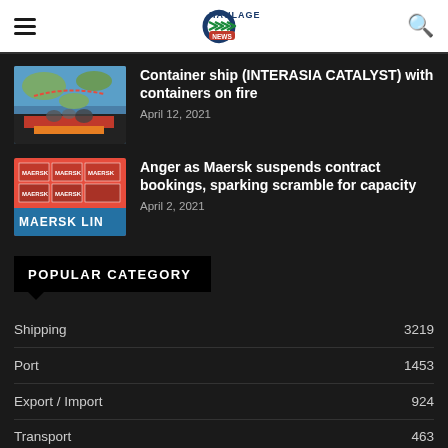Haulage News
Container ship (INTERASIA CATALYST) with containers on fire
April 12, 2021
Anger as Maersk suspends contract bookings, sparking scramble for capacity
April 2, 2021
POPULAR CATEGORY
Shipping 3219
Port 1453
Export / Import 924
Transport 463